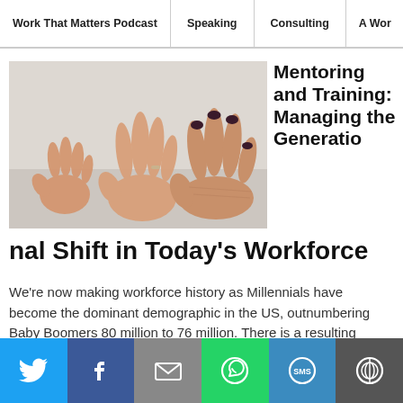Work That Matters Podcast | Speaking | Consulting | A Wor
[Figure (photo): Three hands of different sizes placed flat on a white surface — a small child's hand on the left, a medium adult hand in the middle, and a larger aged hand on the right with dark nail polish on some fingers.]
Mentoring and Training: Managing the Generational Shift in Today's Workforce
We're now making workforce history as Millennials have become the dominant demographic in the US, outnumbering Baby Boomers 80 million to 76 million. There is a resulting generational shift in the workforce